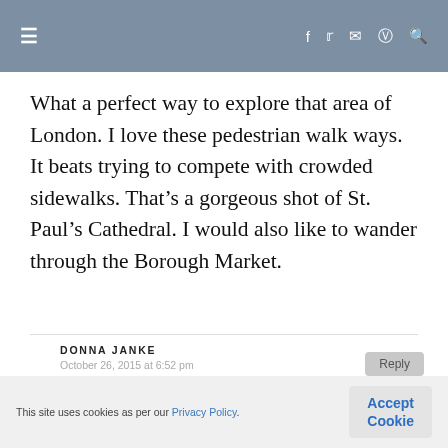Navigation bar with hamburger menu and social icons
What a perfect way to explore that area of London. I love these pedestrian walk ways. It beats trying to compete with crowded sidewalks. That’s a gorgeous shot of St. Paul’s Cathedral. I would also like to wander through the Borough Market.
DONNA JANKE
October 26, 2015 at 6:52 pm
Nancie, the pedestrian walkway was great. Certainly less busy than the streets.
This site uses cookies as per our Privacy Policy.